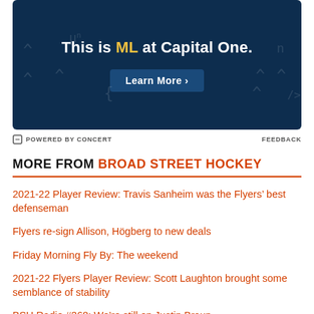[Figure (advertisement): Capital One ML advertisement banner with dark navy background, text 'This is ML at Capital One.' with ML in yellow, and a 'Learn More >' button. Background has faint mathematical/code symbols.]
POWERED BY CONCERT    FEEDBACK
MORE FROM BROAD STREET HOCKEY
2021-22 Player Review: Travis Sanheim was the Flyers' best defenseman
Flyers re-sign Allison, Högberg to new deals
Friday Morning Fly By: The weekend
2021-22 Flyers Player Review: Scott Laughton brought some semblance of stability
BSH Radio #368: We're still on Justin Braun